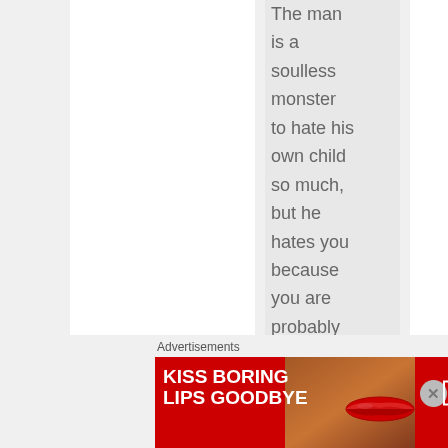The man is a soulless monster to hate his own child so much, but he hates you because you are probably the truth teller of the family– that means
Advertisements
[Figure (illustration): Red Macy's advertisement banner reading 'KISS BORING LIPS GOODBYE' with a woman's face and red lips, SHOP NOW button, and Macy's star logo]